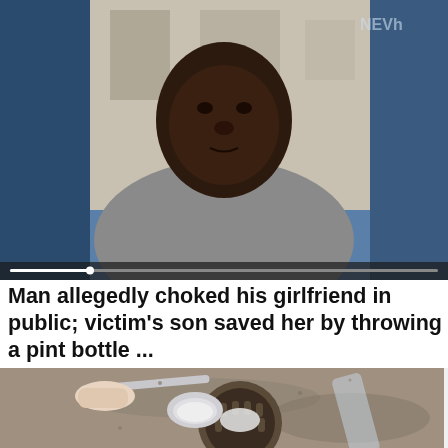[Figure (photo): A man looking at the camera, wearing a grey shirt with black and white striped collar, photographed outdoors with a blue background on the left side. A video progress bar is visible at the bottom of the image.]
Man allegedly choked his girlfriend in public; victim's son saved her by throwing a pint bottle ...
BreakingBelizeNews
[Figure (photo): A hand holding a metal spoon over a kitchen sink drain, pouring white powder (likely baking soda or salt) into the drain. The sink appears wet with water running.]